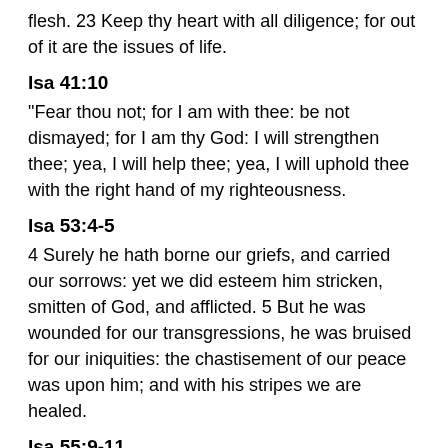flesh. 23 Keep thy heart with all diligence; for out of it are the issues of life.
Isa 41:10
"Fear thou not; for I am with thee: be not dismayed; for I am thy God: I will strengthen thee; yea, I will help thee; yea, I will uphold thee with the right hand of my righteousness.
Isa 53:4-5
4 Surely he hath borne our griefs, and carried our sorrows: yet we did esteem him stricken, smitten of God, and afflicted. 5 But he was wounded for our transgressions, he was bruised for our iniquities: the chastisement of our peace was upon him; and with his stripes we are healed.
Isa 55:9-11
9 For as the heavens are higher than the earth, so are my ways higher than your ways, and my thoughts than your thoughts. 10 For as the rain cometh down, and the snow from heaven, and returneth not thither, but